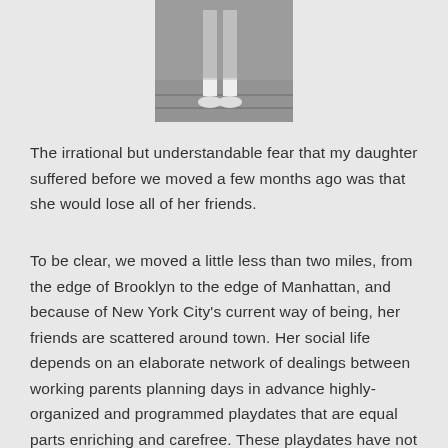[Figure (photo): Black and white cropped photo showing legs and feet of a person walking on a sidewalk, wearing white shoes]
The irrational but understandable fear that my daughter suffered before we moved a few months ago was that she would lose all of her friends.
To be clear, we moved a little less than two miles, from the edge of Brooklyn to the edge of Manhattan, and because of New York City's current way of being, her friends are scattered around town. Her social life depends on an elaborate network of dealings between working parents planning days in advance highly-organized and programmed playdates that are equal parts enriching and carefree. These playdates have not ceased, as I assured her during that breakdown a few months ago, and her circle of friends, all gained by benefit of my own relationships with